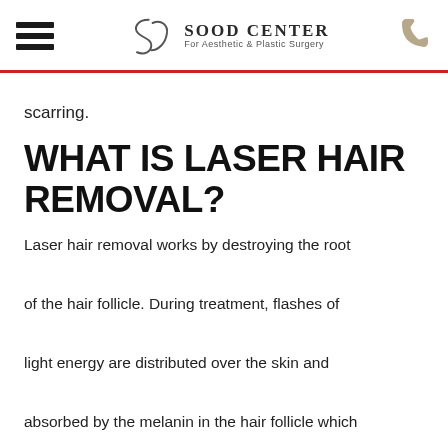Sood Center For Aesthetic & Plastic Surgery
scarring.
WHAT IS LASER HAIR REMOVAL?
Laser hair removal works by destroying the root of the hair follicle. During treatment, flashes of light energy are distributed over the skin and absorbed by the melanin in the hair follicle which